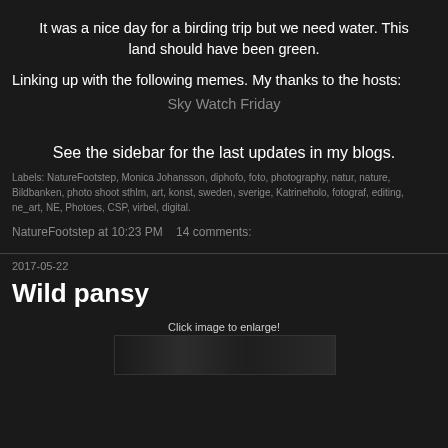It was a nice day for a birding trip but we need water. This land should have been green.
Linking up with the following memes. My thanks to the hosts: Sky Watch Friday
See the sidebar for the last updates in my blogs.
Labels: NatureFootstep, Monica Johansson, diphofo, foto, photography, natur, nature, Bildbanken, photo shoot sthlm, art, konst, sweden, sverige, Katrineholo, fotograf, editing, ne_art, NE, Photoes, CSP, virbel, digital.
NatureFootstep at 10:23 PM  14 comments:
2017-05-22
Wild pansy
Click image to enlarge!
[Figure (photo): Dark photo strip at the bottom of the page showing a nature/bird photo, partially visible.]